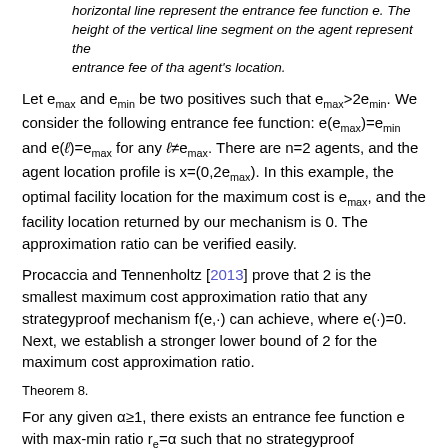horizontal line represent the entrance fee function e. The height of the vertical line segment on the agent represent the entrance fee of tha agent's location.
Let e_max and e_min be two positives such that e_max>2e_min. We consider the following entrance fee function: e(e_max)=e_min and e(ℓ)=e_max for any ℓ≠e_max. There are n=2 agents, and the agent location profile is x=(0,2e_max). In this example, the optimal facility location for the maximum cost is e_max, and the facility location returned by our mechanism is 0. The approximation ratio can be verified easily.
Procaccia and Tennenholtz [2013] prove that 2 is the smallest maximum cost approximation ratio that any strategyproof mechanism f(e,·) can achieve, where e(·)=0. Next, we establish a stronger lower bound of 2 for the maximum cost approximation ratio.
Theorem 8.
For any given α≥1, there exists an entrance fee function e with max-min ratio r_e=α such that no strategyproof mechanism f(e,·):R^n → R can achieve a total cost approximation ratio less than 2.